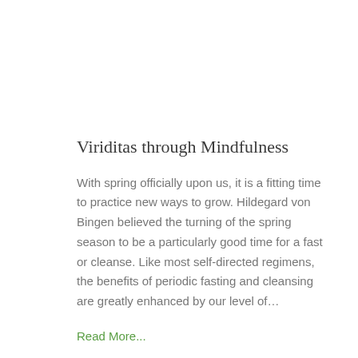Viriditas through Mindfulness
With spring officially upon us, it is a fitting time to practice new ways to grow. Hildegard von Bingen believed the turning of the spring season to be a particularly good time for a fast or cleanse. Like most self-directed regimens, the benefits of periodic fasting and cleansing are greatly enhanced by our level of…
Read More...